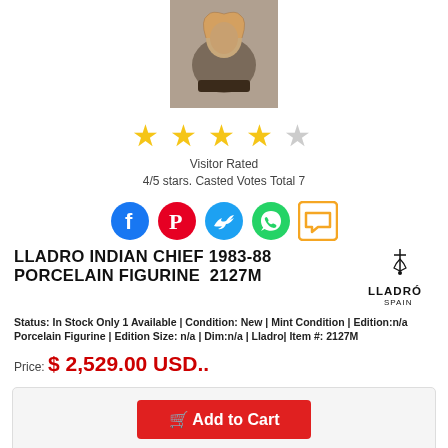[Figure (photo): Product photo of Lladro Indian Chief porcelain figurine]
[Figure (other): Star rating: 4 out of 5 gold stars]
Visitor Rated
4/5 stars. Casted Votes Total 7
[Figure (infographic): Social sharing icons: Facebook, Pinterest, Twitter, WhatsApp, Comment]
LLADRO INDIAN CHIEF 1983-88 PORCELAIN FIGURINE 2127M
[Figure (logo): Lladro Spain brand logo]
Status: In Stock Only 1 Available | Condition: New | Mint Condition | Edition:n/a Porcelain Figurine | Edition Size: n/a | Dim:n/a | Lladro| Item #: 2127M
Price: $ 2,529.00 USD..
Add to Cart
For U.S. Canada, APO & FPO.